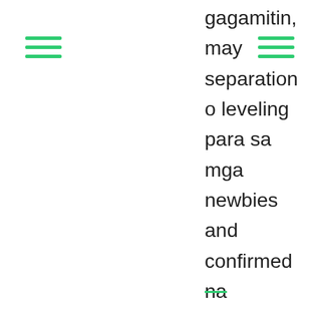gagamitin, may separation o leveling para sa mga newbies and confirmed na members ng org but here's the thing, the problem occurs sa execution ng program. Walang magtuturo.Kung ilan ang miyembro mo sa isang church o sabihin nating sa youth org let's say merong 20 may youth worker na isa. Ang lagay ang ratio 1:20, of course, mathematically masyadong madami yun para sa iisang youth worker na iintindi especially if we are trying to dig deep and to really nourish the lives of our young people.From the vantage point of a church worker, i really see the great need for the lay people to work